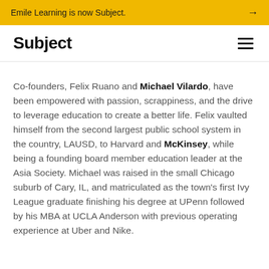Emile Learning is now Subject. →
Subject
Co-founders, Felix Ruano and Michael Vilardo, have been empowered with passion, scrappiness, and the drive to leverage education to create a better life. Felix vaulted himself from the second largest public school system in the country, LAUSD, to Harvard and McKinsey, while being a founding board member education leader at the Asia Society. Michael was raised in the small Chicago suburb of Cary, IL, and matriculated as the town's first Ivy League graduate finishing his degree at UPenn followed by his MBA at UCLA Anderson with previous operating experience at Uber and Nike.